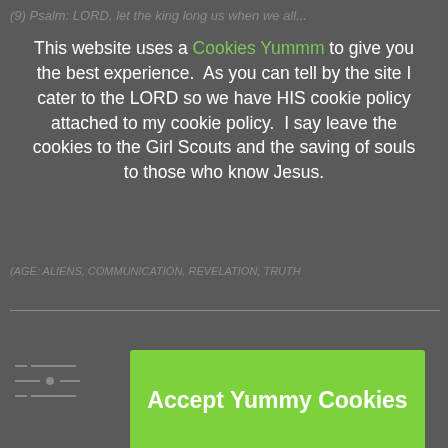(9) Psalm: LORD, let the king long us when we all...
(AGE: ALIENS, COMMUNICATION, REVELATION, TRUTH
This website uses a Cookies Yummm to give you the best experience.  As you can tell by the site I cater to the LORD so we have HIS cookie policy attached to my cookie policy.  I say leave the cookies to the Girl Scouts and the saving of souls to those who know Jesus.
Accept Yummy Cookies
Decline Cookies
We see you...
> YOU MIGHT ALSO LIKE